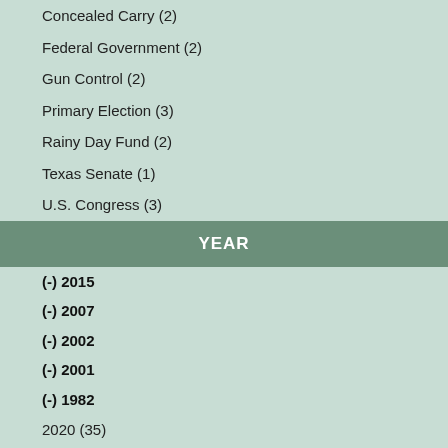Concealed Carry (2)
Federal Government (2)
Gun Control (2)
Primary Election (3)
Rainy Day Fund (2)
Texas Senate (1)
U.S. Congress (3)
YEAR
(-) 2015
(-) 2007
(-) 2002
(-) 2001
(-) 1982
2020 (35)
2018 (3)
2017 (1)
2016 (12)
2014 (5)